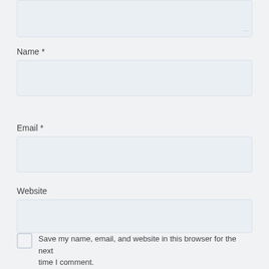[Figure (screenshot): Top portion of a textarea input field with a resize handle in the bottom-right corner]
Name *
[Figure (screenshot): Name input field - empty text input box]
Email *
[Figure (screenshot): Email input field - empty text input box]
Website
[Figure (screenshot): Website input field - empty text input box]
Save my name, email, and website in this browser for the next time I comment.
Submit Reply